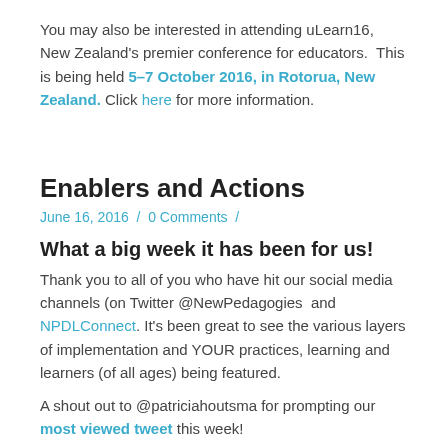You may also be interested in attending uLearn16, New Zealand's premier conference for educators.  This is being held 5–7 October 2016, in Rotorua, New Zealand. Click here for more information.
Enablers and Actions
June 16, 2016  /  0 Comments  /
What a big week it has been for us!
Thank you to all of you who have hit our social media channels (on Twitter @NewPedagogies  and NPDLConnect. It's been great to see the various layers of implementation and YOUR practices, learning and learners (of all ages) being featured.
A shout out to @patriciahoutsma for prompting our most viewed tweet this week!